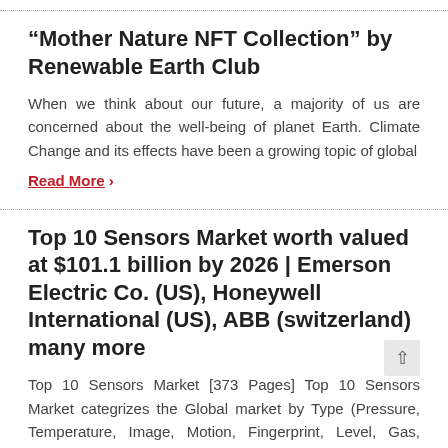“Mother Nature NFT Collection” by Renewable Earth Club
When we think about our future, a majority of us are concerned about the well-being of planet Earth. Climate Change and its effects have been a growing topic of global
Read More ›
Top 10 Sensors Market worth valued at $101.1 billion by 2026 | Emerson Electric Co. (US), Honeywell International (US), ABB (switzerland) many more
Top 10 Sensors Market [373 Pages] Top 10 Sensors Market categrizes the Global market by Type (Pressure, Temperature, Image, Motion, Fingerprint, Level, Gas, Magnetic Field, Position, and Light), and Geography.
Read More